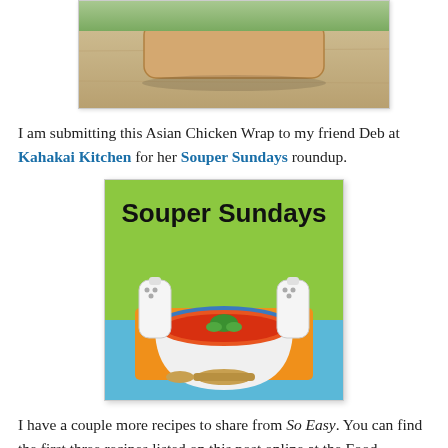[Figure (photo): Partial photo of Asian Chicken Wrap on a wooden surface, cropped at top]
I am submitting this Asian Chicken Wrap to my friend Deb at Kahakai Kitchen for her Souper Sundays roundup.
[Figure (illustration): Souper Sundays logo image: green background with bold black text 'Souper Sundays', a blue and white bowl filled with red tomato soup and green herb garnish, two white salt/pepper shakers, an orange placemat, and a spoon on a light blue surface]
I have a couple more recipes to share from So Easy. You can find the first three recipes listed on this post online at the Food Network, or by clicking on their link within this post. The last three recipes have not yet been posted, so there is no link. I did, however, include the recipe for the Asian-inspired sauce because everyone should try it. It is some